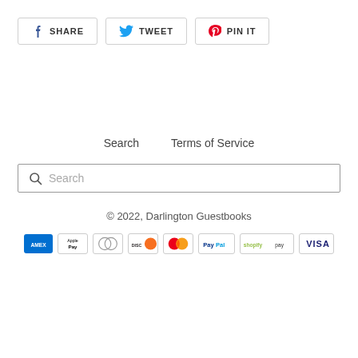[Figure (other): Social share buttons: Facebook SHARE, Twitter TWEET, Pinterest PIN IT]
Search    Terms of Service
[Figure (other): Search input bar with magnifying glass icon and placeholder text 'Search']
© 2022, Darlington Guestbooks
[Figure (other): Payment method icons: American Express, Apple Pay, Diners Club, Discover, Mastercard, PayPal, Shopify Pay, Visa]